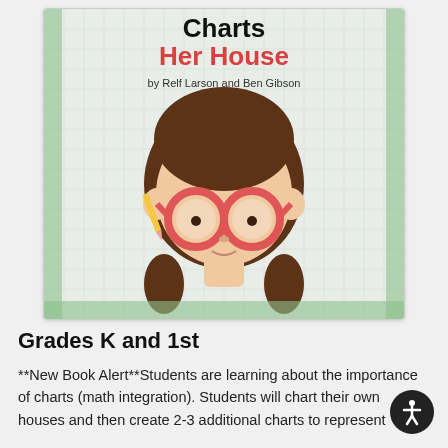[Figure (illustration): Book cover illustration showing a cartoon girl with brown hair and large round red glasses, holding a pencil, set against a graph-paper background with the title 'Charts Her House' and author 'by Relf Larson and Ben Gibson']
Grades K and 1st
**New Book Alert**Students are learning about the importance of charts (math integration). Students will chart their own houses and then create 2-3 additional charts to represent